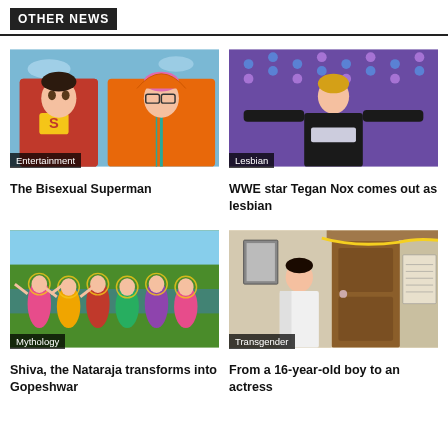OTHER NEWS
[Figure (illustration): Illustrated image of Bisexual Superman characters — a young man in Superman costume and a person in an orange hoodie with pink hair]
Entertainment
The Bisexual Superman
[Figure (photo): Photo of WWE star Tegan Nox with arms outstretched on a stage with colorful lights]
Lesbian
WWE star Tegan Nox comes out as lesbian
[Figure (illustration): Mythological painting of dancers — Shiva as Nataraja transforms into Gopeshwar, colorful Indian classical dance scene]
Mythology
Shiva, the Nataraja transforms into Gopeshwar
[Figure (photo): Photo of a young woman in white saree standing in front of a wooden door]
Transgender
From a 16-year-old boy to an actress